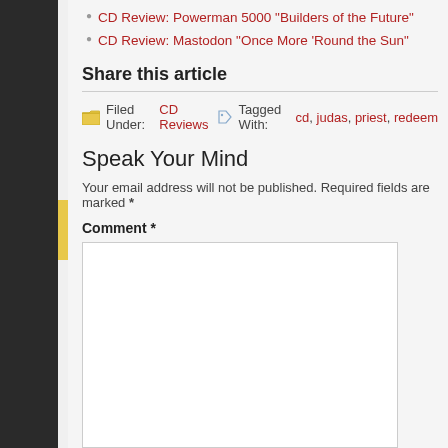CD Review: Powerman 5000 "Builders of the Future"
CD Review: Mastodon "Once More 'Round the Sun"
Share this article
Filed Under: CD Reviews   Tagged With: cd, judas, priest, redeem...
Speak Your Mind
Your email address will not be published. Required fields are marked *
Comment *
Name *